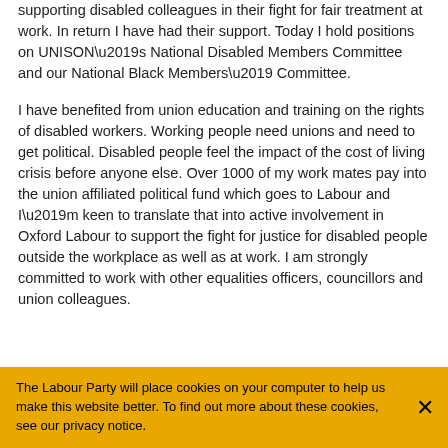supporting disabled colleagues in their fight for fair treatment at work. In return I have had their support. Today I hold positions on UNISON’s National Disabled Members Committee and our National Black Members’ Committee.
I have benefited from union education and training on the rights of disabled workers. Working people need unions and need to get political. Disabled people feel the impact of the cost of living crisis before anyone else. Over 1000 of my work mates pay into the union affiliated political fund which goes to Labour and I’m keen to translate that into active involvement in Oxford Labour to support the fight for justice for disabled people outside the workplace as well as at work. I am strongly committed to work with other equalities officers, councillors and union colleagues.
The Labour Party will place cookies on your computer to help us make this website better. To find out more about these cookies, see our privacy notice.